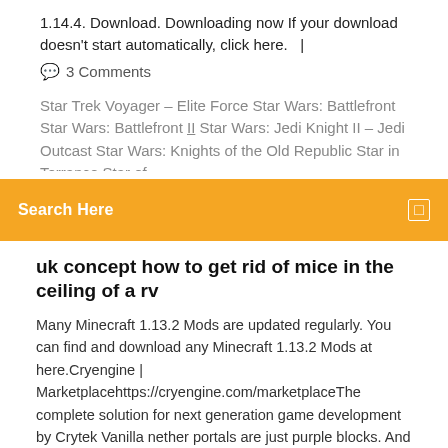1.14.4. Download. Downloading now If your download doesn't start automatically, click here.   |
💬  3 Comments
Star Trek Voyager – Elite Force Star Wars: Battlefront Star Wars: Battlefront II Star Wars: Jedi Knight II – Jedi Outcast Star Wars: Knights of the Old Republic Star in Terrance Star of
Search Here
uk concept how to get rid of mice in the ceiling of a rv
Many Minecraft 1.13.2 Mods are updated regularly. You can find and download any Minecraft 1.13.2 Mods at here.Cryengine | Marketplacehttps://cryengine.com/marketplaceThe complete solution for next generation game development by Crytek Vanilla nether portals are just purple blocks. And there is a loading screen when you travel between nether and overworld. Immersive Portals Mod 1.15.1/1.1 TME Shaders in 1.14.4 - watch how to install shaders with OptiFine 1.14.4 This is a